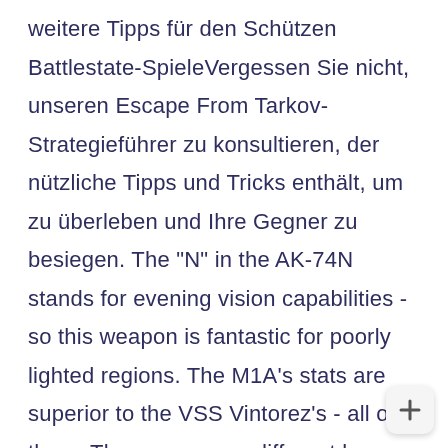weitere Tipps für den Schützen Battlestate-SpieleVergessen Sie nicht, unseren Escape From Tarkov-Strategieführer zu konsultieren, der nützliche Tipps und Tricks enthält, um zu überleben und Ihre Gegner zu besiegen. The "N" in the AK-74N stands for evening vision capabilities - so this weapon is fantastic for poorly lighted regions. The M1A's stats are superior to the VSS Vintorez's - all of them. There are many different keys you can find while playing Escape from Tarkov. Als FPS mit realistischer Mechanik Flucht aus Tarkov Die Genauigkeit und Zuverlässigkeit von Waffen spielen eine noch wichtigere Rolle. Escape From Tarkov is a popular multiplayer first-person shooter RPG. Best AR-15 Scopes & Optics [2021]: Red Dots to Magnified. The AK-47 when considering volume produced, reliability, and